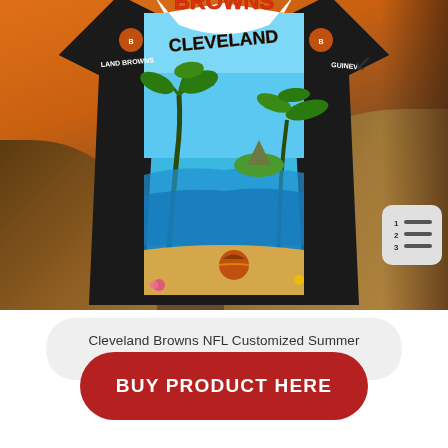[Figure (photo): Cleveland Browns NFL Customized Summer Hawaiian Shirt displayed against a beach/sunset background. The shirt features tropical palm trees, ocean scenery, beach motif, and Cleveland Browns team branding including logos and text reading BROWNS and CLEVELAND on the front.]
Cleveland Browns NFL Customized Summer Hawaiian Shirt
BUY PRODUCT HERE